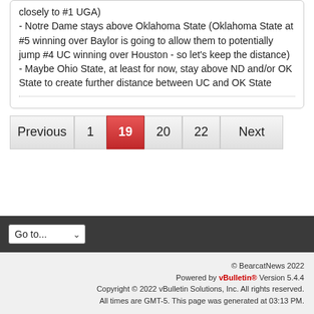closely to #1 UGA)
- Notre Dame stays above Oklahoma State (Oklahoma State at #5 winning over Baylor is going to allow them to potentially jump #4 UC winning over Houston - so let's keep the distance)
- Maybe Ohio State, at least for now, stay above ND and/or OK State to create further distance between UC and OK State
Previous | 1 | 19 | 20 | 22 | Next
Go to... ▾
© BearcatNews 2022
Powered by vBulletin® Version 5.4.4
Copyright © 2022 vBulletin Solutions, Inc. All rights reserved.
All times are GMT-5. This page was generated at 03:13 PM.